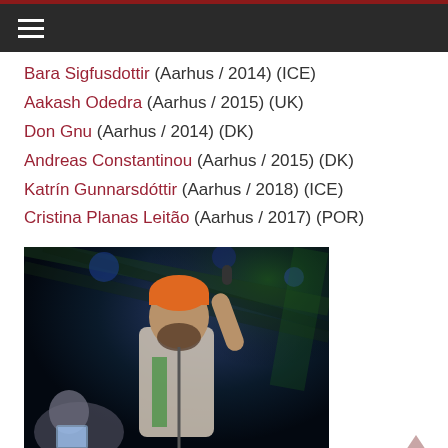Navigation bar with hamburger menu
Bara Sigfusdottir (Aarhus / 2014) (ICE)
Aakash Odedra (Aarhus / 2015) (UK)
Don Gnu (Aarhus / 2014) (DK)
Andreas Constantinou (Aarhus / 2015) (DK)
Katrín Gunnarsdóttir (Aarhus / 2018) (ICE)
Cristina Planas Leitão (Aarhus / 2017) (POR)
[Figure (photo): A performer on stage with microphone, wearing orange beanie and white t-shirt, blue and green stage lighting, another person visible in lower left]
Interviews / Music...